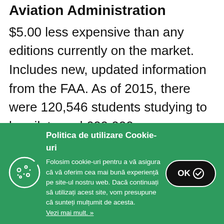Aviation Administration
$5.00 less expensive than any editions currently on the market. Includes new, updated information from the FAA. As of 2015, there were 120,546 students studying to be pilots and 600,000…
Catre Magazin
Politica de utilizare Cookie-uri
Folosim cookie-uri pentru a vă asigura că vă oferim cea mai bună experiență pe site-ul nostru web. Dacă continuați să utilizați acest site, vom presupune că sunteți mulțumit de acesta.
Vezi mai mult. »
OK